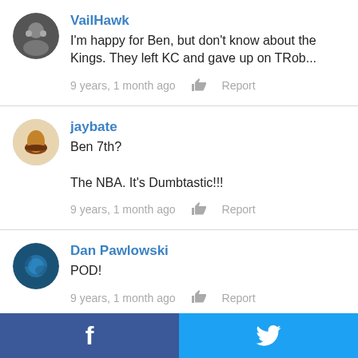VailHawk
I'm happy for Ben, but don't know about the Kings. They left KC and gave up on TRob...
9 years, 1 month ago   Report
jaybate
Ben 7th?

The NBA. It's Dumbtastic!!!
9 years, 1 month ago   Report
Dan Pawlowski
POD!
9 years, 1 month ago   Report